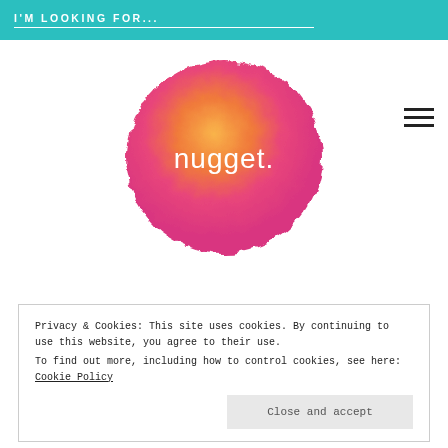I'M LOOKING FOR...
[Figure (logo): Nugget logo: a sphere with orange-to-pink gradient and the word 'nugget.' in white text]
Privacy & Cookies: This site uses cookies. By continuing to use this website, you agree to their use.
To find out more, including how to control cookies, see here: Cookie Policy
Close and accept